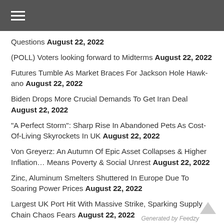≡ (hamburger menu)
Questions August 22, 2022
(POLL) Voters looking forward to Midterms August 22, 2022
Futures Tumble As Market Braces For Jackson Hole Hawk-ano August 22, 2022
Biden Drops More Crucial Demands To Get Iran Deal August 22, 2022
"A Perfect Storm": Sharp Rise In Abandoned Pets As Cost-Of-Living Skyrockets In UK August 22, 2022
Von Greyerz: An Autumn Of Epic Asset Collapses & Higher Inflation... Means Poverty & Social Unrest August 22, 2022
Zinc, Aluminum Smelters Shuttered In Europe Due To Soaring Power Prices August 22, 2022
Largest UK Port Hit With Massive Strike, Sparking Supply Chain Chaos Fears August 22, 2022
Biden Has Quietly Ramped Up Drone Strikes In Somalia, Killing
Generated by Feedzy